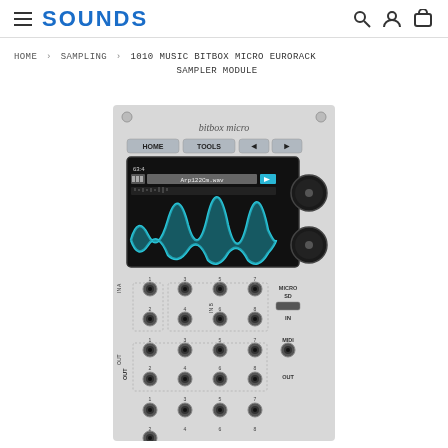SOUNDS
HOME > SAMPLING > 1010 MUSIC BITBOX MICRO EURORACK SAMPLER MODULE
[Figure (photo): Photo of 1010 Music Bitbox Micro Eurorack Sampler Module showing the front panel with 'bitbox micro' label, HOME/TOOLS/arrow navigation buttons, a black LCD screen displaying waveform for 'Arp122Cm.wav' at position 63:4 with cyan waveform visualization, two large black rotary knobs on the right side, rows of audio input/output jacks labeled IN A (1-2), IN B (3-8), OUT (1-8), MIDI IN/OUT connectors, and a Micro SD slot.]